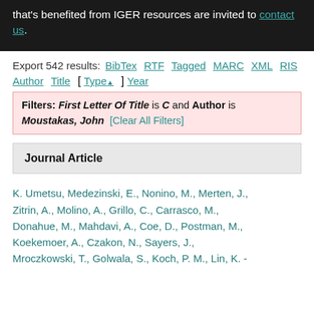that's benefited from IGER resources are invited to contact us.
Export 542 results: BibTex RTF Tagged MARC XML RIS
Author Title [ Type▲ ] Year
Filters: First Letter Of Title is C and Author is Moustakas, John [Clear All Filters]
Journal Article
K. Umetsu, Medezinski, E., Nonino, M., Merten, J., Zitrin, A., Molino, A., Grillo, C., Carrasco, M., Donahue, M., Mahdavi, A., Coe, D., Postman, M., Koekemoer, A., Czakon, N., Sayers, J., Mroczkowski, T., Golwala, S., Koch, P. M., Lin, K. -